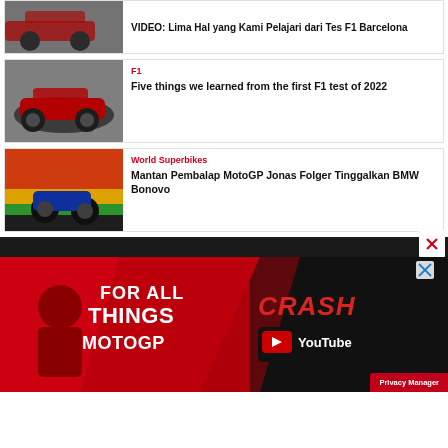[Figure (photo): Partial F1 car racing photo, top of article card (VIDEO: Lima Hal yang Kami Pelajari dari Tes F1 Barcelona)]
VIDEO: Lima Hal yang Kami Pelajari dari Tes F1 Barcelona
[Figure (photo): F1 red racing car on track, black and white with color tones]
F1
Five things we learned from the first F1 test of 2022
[Figure (photo): Motorcycle racer leaning into corner at colorful track]
World Superbikes
Mantan Pembalap MotoGP Jonas Folger Tinggalkan BMW Bonovo
[Figure (photo): Advertisement banner: FOR ALL THINGS MOTOGP - CRASH YouTube channel ad with red background and motorcycle imagery]